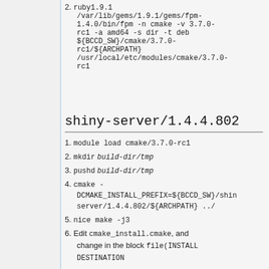2. ruby1.9.1 /var/lib/gems/1.9.1/gems/fpm-1.4.0/bin/fpm -n cmake -v 3.7.0-rc1 -a amd64 -s dir -t deb ${BCCD_SW}/cmake/3.7.0-rc1/${ARCHPATH} /usr/local/etc/modules/cmake/3.7.0-rc1
shiny-server/1.4.4.802
1. module load cmake/3.7.0-rc1
2. mkdir build-dir/tmp
3. pushd build-dir/tmp
4. cmake -DCMAKE_INSTALL_PREFIX=${BCCD_SW}/shiny-server/1.4.4.802/${ARCHPATH} ../
5. nice make -j3
6. Edit cmake_install.cmake, and change in the block file(INSTALL DESTINATION